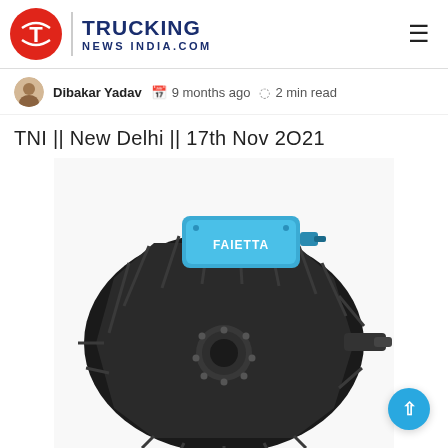TRUCKING NEWS INDIA.COM
Dibakar Yadav   9 months ago   2 min read
TNI || New Delhi || 17th Nov 2021
[Figure (photo): A large black electric motor/hub drive unit with a blue controller unit labeled 'FAIETTA' mounted on top. The motor has a ribbed circular casing with a central bolt pattern and a shaft on the right side.]